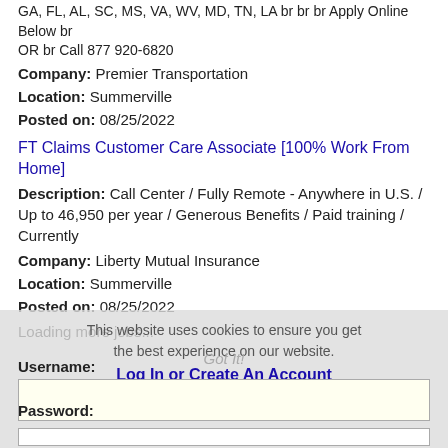GA, FL, AL, SC, MS, VA, WV, MD, TN, LA br br br Apply Online Below br OR br Call 877 920-6820
Company: Premier Transportation
Location: Summerville
Posted on: 08/25/2022
FT Claims Customer Care Associate [100% Work From Home]
Description: Call Center / Fully Remote - Anywhere in U.S. / Up to 46,950 per year / Generous Benefits / Paid training / Currently
Company: Liberty Mutual Insurance
Location: Summerville
Posted on: 08/25/2022
Loading more jobs...
This website uses cookies to ensure you get the best experience on our website.
Log In or Create An Account
Learn more
Username:
Got It!
Password: